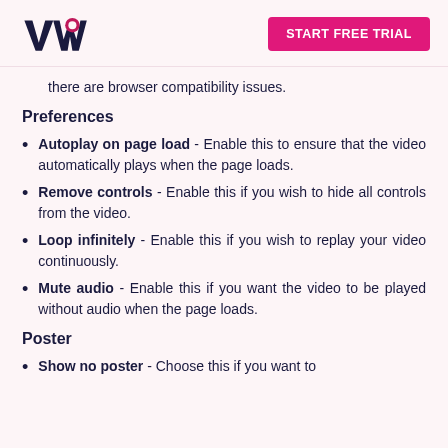VWO | START FREE TRIAL
there are browser compatibility issues.
Preferences
Autoplay on page load - Enable this to ensure that the video automatically plays when the page loads.
Remove controls - Enable this if you wish to hide all controls from the video.
Loop infinitely - Enable this if you wish to replay your video continuously.
Mute audio - Enable this if you want the video to be played without audio when the page loads.
Poster
Show no poster - Choose this if you want to